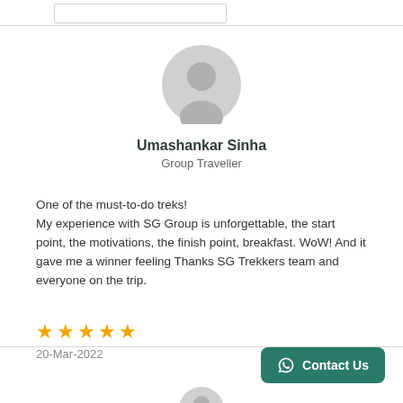[Figure (illustration): Grey placeholder avatar icon — silhouette of a person in a circle]
Umashankar Sinha
Group Traveller
One of the must-to-do treks!
My experience with SG Group is unforgettable, the start point, the motivations, the finish point, breakfast. WoW! And it gave me a winner feeling Thanks SG Trekkers team and everyone on the trip.
[Figure (illustration): 5 orange filled star rating icons]
20-Mar-2022